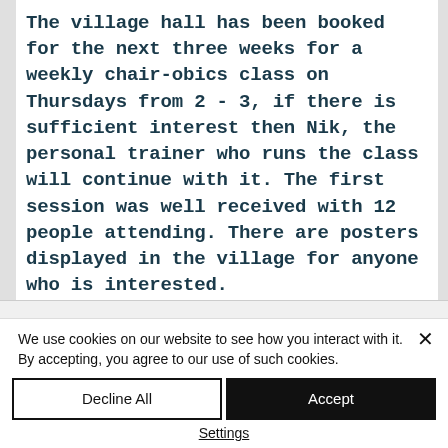The village hall has been booked for the next three weeks for a weekly chair-obics class on Thursdays from 2 - 3, if there is sufficient interest then Nik, the personal trainer who runs the class will continue with it. The first session was well received with 12 people attending. There are posters displayed in the village for anyone who is interested.
We use cookies on our website to see how you interact with it. By accepting, you agree to our use of such cookies.
Decline All
Accept
Settings